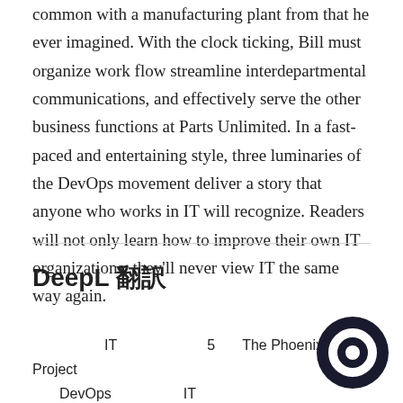common with a manufacturing plant from that he ever imagined. With the clock ticking, Bill must organize work flow streamline interdepartmental communications, and effectively serve the other business functions at Parts Unlimited. In a fast-paced and entertaining style, three luminaries of the DevOps movement deliver a story that anyone who works in IT will recognize. Readers will not only learn how to improve their own IT organizations, they'll never view IT the same way again.
DeepL 翻訳
IT　　　　　　　　5　The Phoenix Project　DevOps　　IT　　　　　　　　The Phoenix Project　　　　　　　　　The